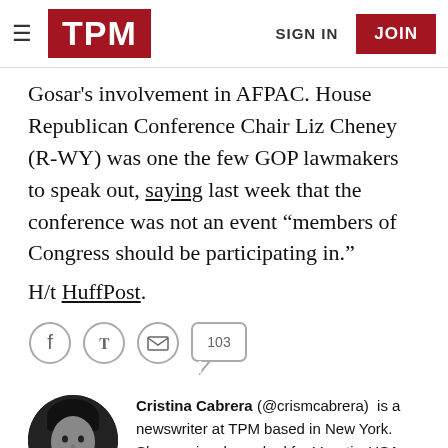TPM | SIGN IN | JOIN
Gosar's involvement in AFPAC. House Republican Conference Chair Liz Cheney (R-WY) was one the few GOP lawmakers to speak out, saying last week that the conference was not an event “members of Congress should be participating in.”
H/t HuffPost.
[Figure (other): Social sharing icons: Facebook, Twitter, Email circles, and a comment bubble showing 103 comments]
Cristina Cabrera (@crismcabrera) is a newswriter at TPM based in New York. She previously worked for Vocativ, USA Today and NY1 News.